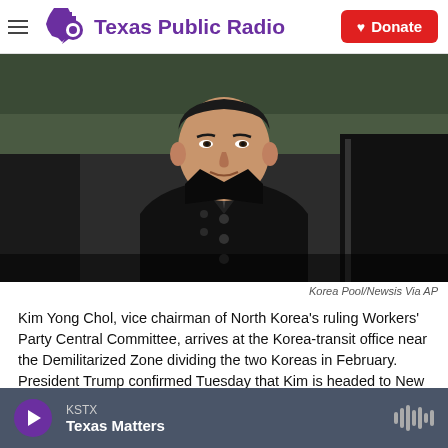Texas Public Radio | Donate
[Figure (photo): Kim Yong Chol, a man in a dark overcoat, stepping out of a black car with trees in the background]
Korea Pool/Newsis Via AP
Kim Yong Chol, vice chairman of North Korea's ruling Workers' Party Central Committee, arrives at the Korea-transit office near the Demilitarized Zone dividing the two Koreas in February. President Trump confirmed Tuesday that Kim is headed to New York discuss a possible summit with Kim Jong Un.